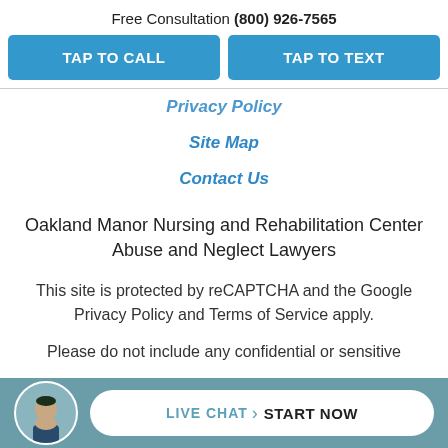Free Consultation (800) 926-7565
TAP TO CALL
TAP TO TEXT
Privacy Policy
Site Map
Contact Us
Oakland Manor Nursing and Rehabilitation Center Abuse and Neglect Lawyers
This site is protected by reCAPTCHA and the Google Privacy Policy and Terms of Service apply.
Please do not include any confidential or sensitive
LIVE CHAT START NOW